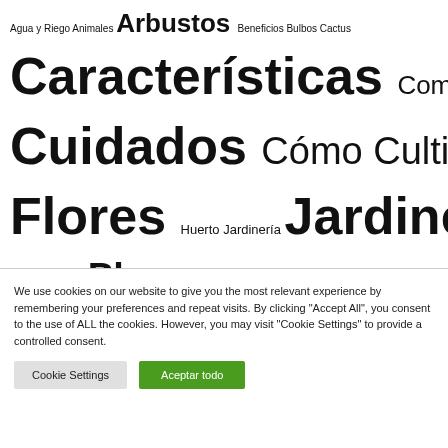Agua y Riego Animales Arbustos Beneficios Bulbos Cactus Características Comestibles Consejos Cuidados Cómo Cultivar Decoración Flores Huerto Jardinería Jardines Macetas y Jardineras Mascotas Perros Plagas Plantas de exterior Plantas de interior Plantas trepadoras Pájaros y Aves Rosales Tipos Árboles Árboles frutales
We use cookies on our website to give you the most relevant experience by remembering your preferences and repeat visits. By clicking "Accept All", you consent to the use of ALL the cookies. However, you may visit "Cookie Settings" to provide a controlled consent.
Cookie Settings
Aceptar todo